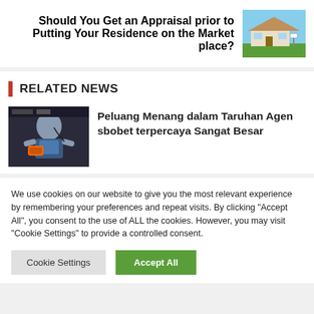Should You Get an Appraisal prior to Putting Your Residence on the Market place?
[Figure (photo): Photo of a house exterior with green lawn and clear sky]
RELATED NEWS
[Figure (photo): Young man holding a phone/game controller]
Peluang Menang dalam Taruhan Agen sbobet terpercaya Sangat Besar
We use cookies on our website to give you the most relevant experience by remembering your preferences and repeat visits. By clicking “Accept All”, you consent to the use of ALL the cookies. However, you may visit "Cookie Settings" to provide a controlled consent.